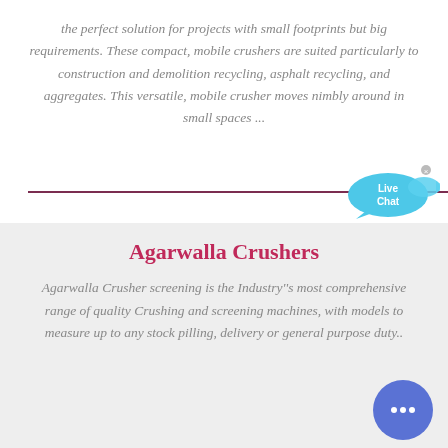the perfect solution for projects with small footprints but big requirements. These compact, mobile crushers are suited particularly to construction and demolition recycling, asphalt recycling, and aggregates. This versatile, mobile crusher moves nimbly around in small spaces ...
[Figure (other): Live Chat button — a blue speech bubble icon with 'Live Chat' text and a small fish/arrow shape, with an X close button]
Agarwalla Crushers
Agarwalla Crusher screening is the Industry''s most comprehensive range of quality Crushing and screening machines, with models to measure up to any stock pilling, delivery or general purpose duty..
[Figure (other): Blue circular chat button with three dots (ellipsis) in the center, positioned at the bottom right corner]